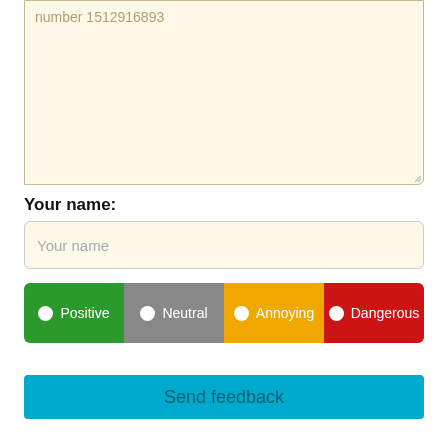[Figure (screenshot): Text area input box with placeholder text 'number 1512916893' on a light cream background]
Your name:
[Figure (screenshot): Text input field with placeholder 'Your name' on light cream background]
[Figure (infographic): Radio button bar with four options: Positive (green), Neutral (gray), Annoying (orange/yellow), Dangerous (red)]
[Figure (screenshot): Send feedback button in cyan/teal blue color]